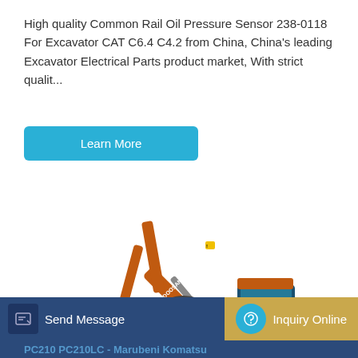High quality Common Rail Oil Pressure Sensor 238-0118 For Excavator CAT C6.4 C4.2 from China, China's leading Excavator Electrical Parts product market, With strict qualit...
Learn More
[Figure (photo): Orange Doosan crawler excavator with extended boom and bucket, shown in side-profile on white background]
Send Message
Inquiry Online
PC210 PC210LC - Marubeni Komatsu